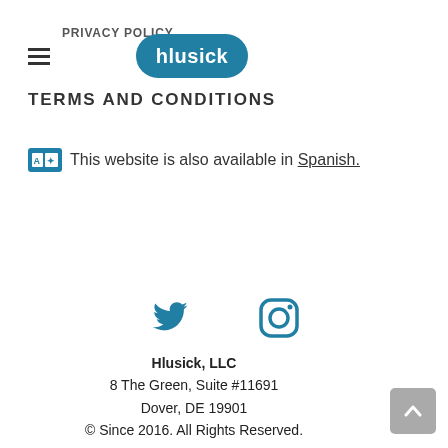PRIVACY POLICY
[Figure (logo): hlusick logo — white text on teal rounded badge]
TERMS AND CONDITIONS
This website is also available in Spanish.
[Figure (other): Twitter and Instagram social media icons]
Hlusick, LLC
8 The Green, Suite #11691
Dover, DE 19901
© Since 2016. All Rights Reserved.